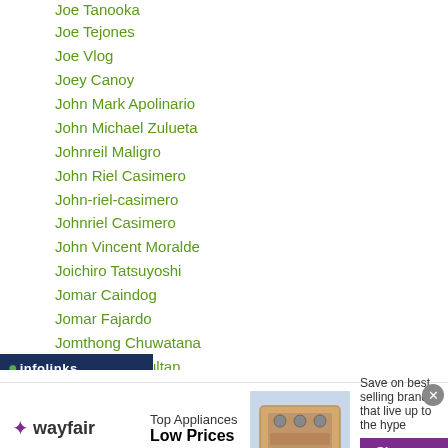Joe Tanooka
Joe Tejones
Joe Vlog
Joey Canoy
John Mark Apolinario
John Michael Zulueta
Johnreil Maligro
John Riel Casimero
John-riel-casimero
Johnriel Casimero
John Vincent Moralde
Joichiro Tatsuyoshi
Jomar Caindog
Jomar Fajardo
Jomthong Chuwatana
...ultan
[Figure (other): Wayfair advertisement banner: Top Appliances Low Prices, Shop now button, appliance image]